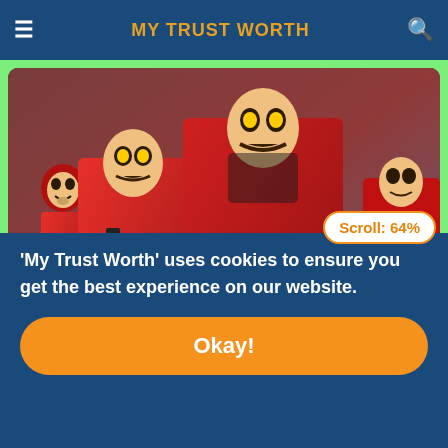MY TRUST WORTH
[Figure (screenshot): Money Heist promotional image showing characters in red jumpsuits and Dali masks holding guns, with 'MONEY HEIST' text overlay]
Money Heist - ENGLISH
Scroll: 64%
'My Trust Worth' uses cookies to ensure you get the best experience on our website.
Okay!